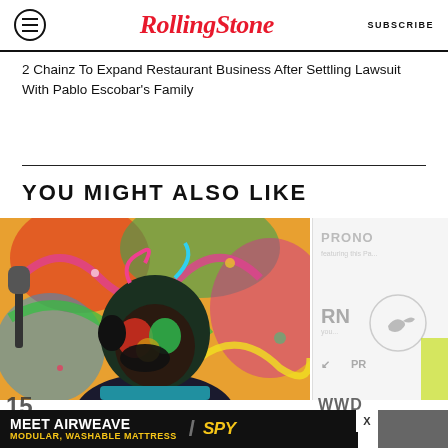RollingStone  SUBSCRIBE
2 Chainz To Expand Restaurant Business After Settling Lawsuit With Pablo Escobar's Family
YOU MIGHT ALSO LIKE
[Figure (photo): Album artwork or illustration showing a figure with colorful face paint and headphones against a vivid, psychedelic background.]
[Figure (advertisement): MEET AIRWEAVE advertisement with text: MODULAR, WASHABLE MATTRESS and SPY logo.]